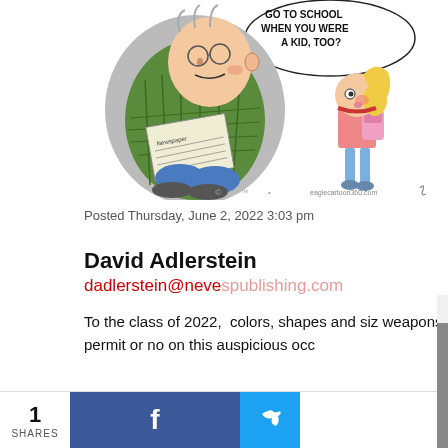[Figure (illustration): Editorial cartoon showing an older man sitting in an armchair reading a newspaper, with a young girl with a backpack standing nearby. Speech bubble reads: 'GO TO SCHOOL WHEN YOU WERE A KID, TOO?' Watermark: eaglecartoon360.com]
Posted Thursday, June 2, 2022 3:03 pm
David Adlerstein
dadlerstein@nevespublishing.com
To the class of 2022, colors, shapes and siz weapons permit or no on this auspicious occ
[Figure (screenshot): Popup overlay showing 'Top News & Sports: - Police use obscur...' with a video of an aerial/bird's-eye view of a parking lot and street with trees. A mute button (orange circle with speaker icon) is visible in the lower left of the video.]
1
SHARES